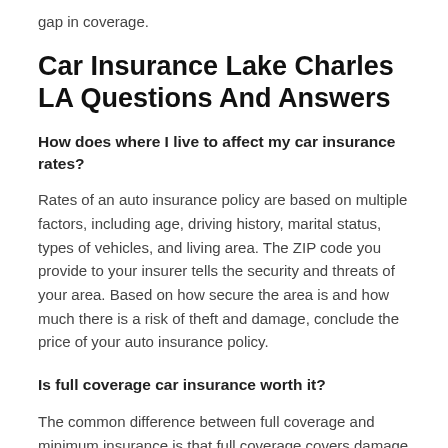gap in coverage.
Car Insurance Lake Charles LA Questions And Answers
How does where I live to affect my car insurance rates?
Rates of an auto insurance policy are based on multiple factors, including age, driving history, marital status, types of vehicles, and living area. The ZIP code you provide to your insurer tells the security and threats of your area. Based on how secure the area is and how much there is a risk of theft and damage, conclude the price of your auto insurance policy.
Is full coverage car insurance worth it?
The common difference between full coverage and minimum insurance is that full coverage covers damage to you and your car. In contrast, the minimum typically pays for the other person and his vehicle. You can pay for extra coverage if you can't